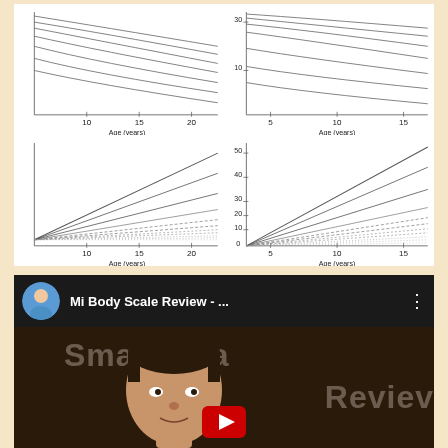[Figure (continuous-plot): Four growth reference charts (2x2 grid) showing percentile curves plotted against Age (years). Top-left: curves converging from upper left to right, x-axis 10-20 years. Top-right: y-axis 10-30, x-axis 5-15 years. Bottom-left: diverging lines from lower left, y-axis unlabeled, x-axis 10-20 years. Bottom-right: y-axis 0-50, x-axis 5-15 years. All charts show multiple percentile lines (solid and dashed).]
[Figure (screenshot): YouTube video thumbnail for 'Mi Body Scale Review - ...' showing a man's face in the video, with 'Smart Sca... Review' text overlay, a play button, and a circular avatar of a man in blue shirt in the video header.]